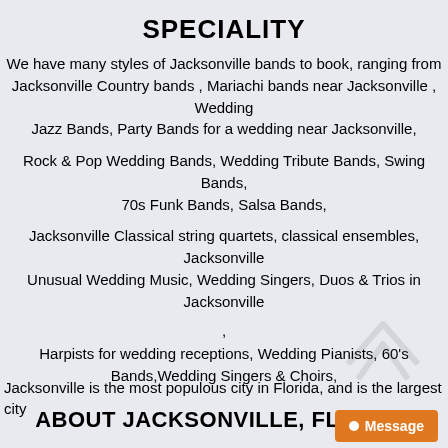SPECIALITY
We have many styles of Jacksonville bands to book, ranging from Jacksonville Country bands , Mariachi bands near Jacksonville , Wedding Jazz Bands, Party Bands for a wedding near Jacksonville,
Rock & Pop Wedding Bands, Wedding Tribute Bands, Swing Bands, 70s Funk Bands, Salsa Bands,
Jacksonville Classical string quartets, classical ensembles, Jacksonville Unusual Wedding Music, Wedding Singers, Duos & Trios in Jacksonville
,
Harpists for wedding receptions, Wedding Pianists, 60's Bands,Wedding Singers & Choirs,
ABOUT JACKSONVILLE, FLORIDA
Jacksonville is the most populous city in Florida, and is the largest city